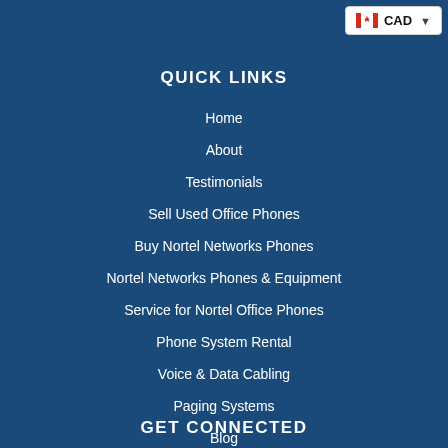[Figure (other): CAD currency selector button with Canadian flag icon and dropdown arrow in top right corner]
QUICK LINKS
Home
About
Testimonials
Sell Used Office Phones
Buy Nortel Networks Phones
Nortel Networks Phones & Equipment
Service for Nortel Office Phones
Phone System Rental
Voice & Data Cabling
Paging Systems
Blog
GET CONNECTED